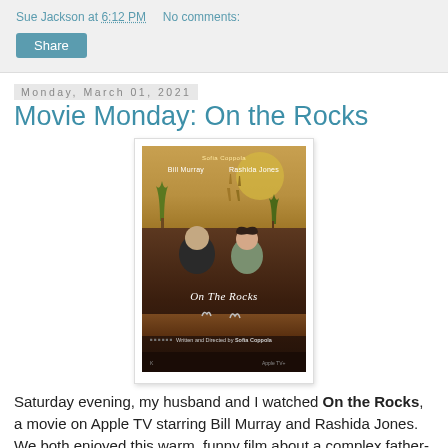Sue Jackson at 6:12 PM   No comments:
Share
Monday, March 01, 2021
Movie Monday: On the Rocks
[Figure (photo): Movie poster for 'On the Rocks' directed by Sofia Coppola, showing Bill Murray and Rashida Jones seated at a bar table, with illustrated trees on a golden background above them.]
Saturday evening, my husband and I watched On the Rocks, a movie on Apple TV starring Bill Murray and Rashida Jones. We both enjoyed this warm, funny film about a complex father-daughter relationship...